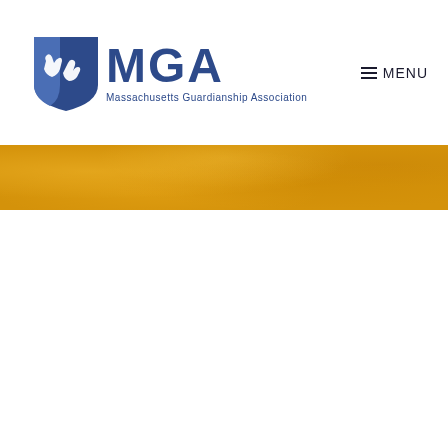[Figure (logo): Massachusetts Guardianship Association (MGA) logo — blue shield with white hands icon, large 'MGA' text in dark blue, and 'Massachusetts Guardianship Association' tagline below]
[Figure (other): Golden/amber textured horizontal banner strip spanning full page width]